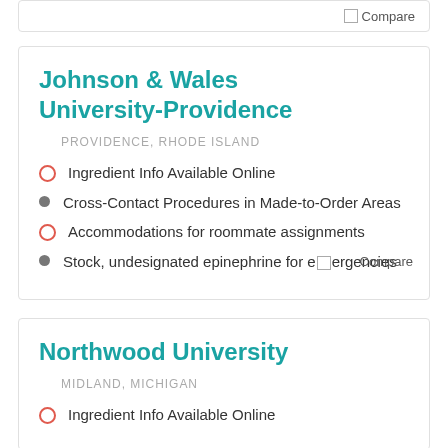Johnson & Wales University-Providence
PROVIDENCE, RHODE ISLAND
Ingredient Info Available Online
Cross-Contact Procedures in Made-to-Order Areas
Accommodations for roommate assignments
Stock, undesignated epinephrine for emergencies
Northwood University
MIDLAND, MICHIGAN
Ingredient Info Available Online